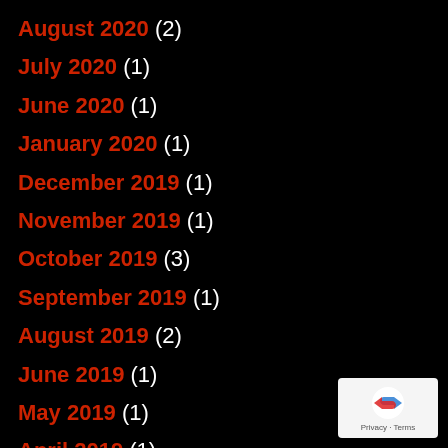August 2020 (2)
July 2020 (1)
June 2020 (1)
January 2020 (1)
December 2019 (1)
November 2019 (1)
October 2019 (3)
September 2019 (1)
August 2019 (2)
June 2019 (1)
May 2019 (1)
April 2019 (1)
March 2019 (1)
January 2019 (2)
December 2018 (1)
[Figure (logo): Google reCAPTCHA badge with Privacy and Terms links]